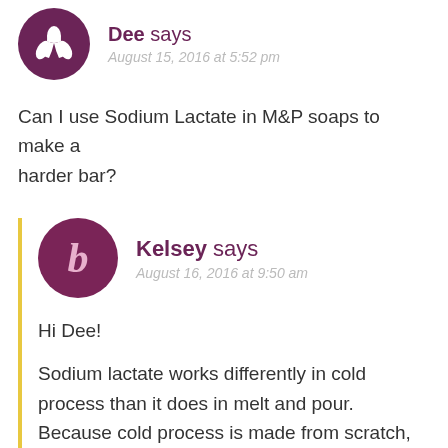Dee says
August 15, 2016 at 5:52 pm
Can I use Sodium Lactate in M&P soaps to make a harder bar?
Kelsey says
August 16, 2016 at 9:50 am
Hi Dee!
Sodium lactate works differently in cold process than it does in melt and pour. Because cold process is made from scratch, the sodium lactate helps harden the bars. Melt and pour has already been made, so